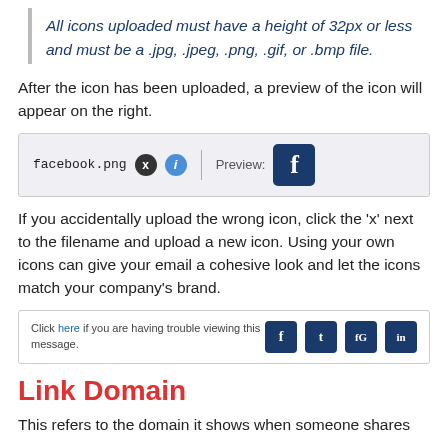All icons uploaded must have a height of 32px or less and must be a .jpg, .jpeg, .png, .gif, or .bmp file.
After the icon has been uploaded, a preview of the icon will appear on the right.
[Figure (screenshot): UI element showing a file upload row with 'facebook.png', an X button, an info (i) button, a divider, 'Preview:' label, and a Facebook icon preview.]
If you accidentally upload the wrong icon, click the 'x' next to the filename and upload a new icon. Using your own icons can give your email a cohesive look and let the icons match your company's brand.
[Figure (screenshot): Email footer preview showing 'Click here if you are having trouble viewing this message.' and four social media icons: Facebook, Twitter, Google+, LinkedIn.]
Link Domain
This refers to the domain it shows when someone shares